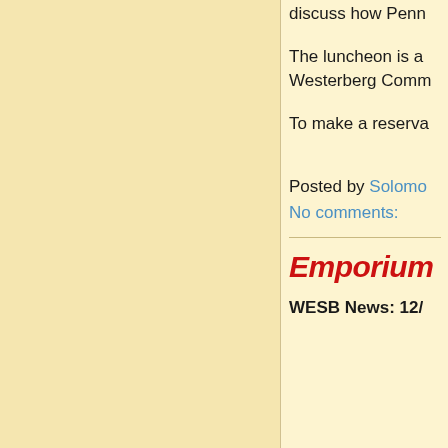discuss how Penn
The luncheon is a Westerberg Comm
To make a reserva
Posted by Solomo
No comments:
Emporium
WESB News: 12/